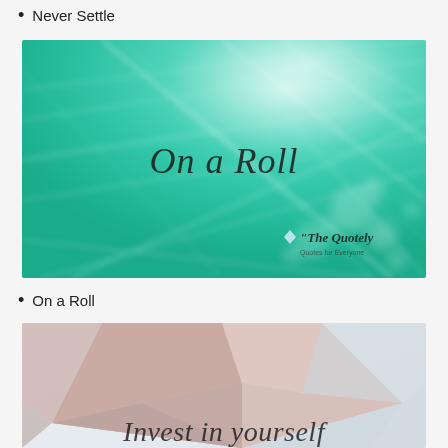Never Settle
[Figure (illustration): Teal/turquoise abstract background with light rays and streaks, text 'On a Roll' in italic script, watermark 'The Quotely – Quotes for Everyone' in bottom right corner]
On a Roll
[Figure (illustration): Low-poly geometric background in light pink/mauve and pale blue tones, partially visible italic text 'Invest in yourself' at the bottom]